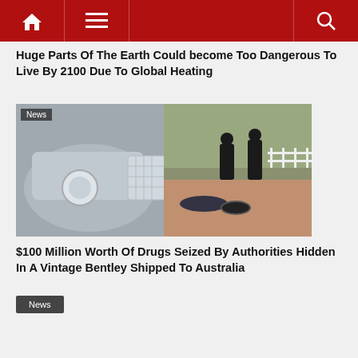Navigation header with home, menu, and search icons
Huge Parts Of The Earth Could become Too Dangerous To Live By 2100 Due To Global Heating
[Figure (photo): Split image: left side shows front of a vintage silver Bentley car with chrome grille and headlights; right side shows police officers in black tactical gear detaining a person on a brick driveway with a tyre nearby.]
$100 Million Worth Of Drugs Seized By Authorities Hidden In A Vintage Bentley Shipped To Australia
News